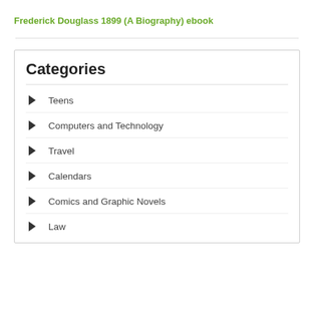Frederick Douglass 1899 (A Biography) ebook
Categories
Teens
Computers and Technology
Travel
Calendars
Comics and Graphic Novels
Law